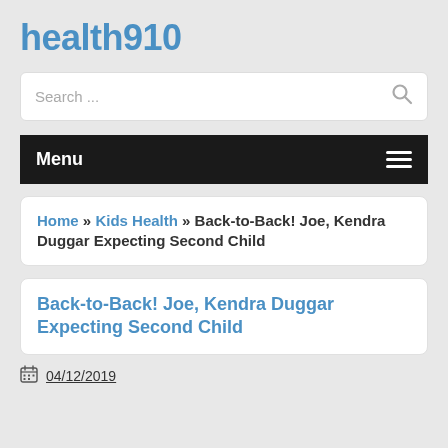health910
Search ...
Menu
Home » Kids Health » Back-to-Back! Joe, Kendra Duggar Expecting Second Child
Back-to-Back! Joe, Kendra Duggar Expecting Second Child
04/12/2019